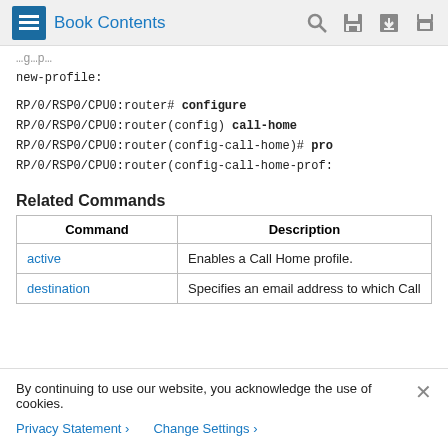Book Contents
new-profile:
RP/0/RSP0/CPU0:router# configure
RP/0/RSP0/CPU0:router(config) call-home
RP/0/RSP0/CPU0:router(config-call-home)# pro
RP/0/RSP0/CPU0:router(config-call-home-prof:
Related Commands
| Command | Description |
| --- | --- |
| active | Enables a Call Home profile. |
| destination | Specifies an email address to which Call |
By continuing to use our website, you acknowledge the use of cookies.
Privacy Statement  Change Settings